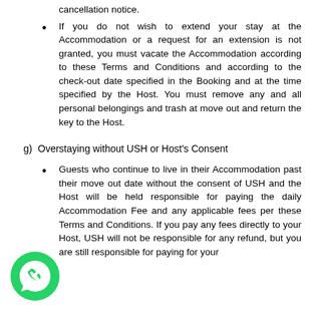cancellation notice.
If you do not wish to extend your stay at the Accommodation or a request for an extension is not granted, you must vacate the Accommodation according to these Terms and Conditions and according to the check-out date specified in the Booking and at the time specified by the Host. You must remove any and all personal belongings and trash at move out and return the key to the Host.
g) Overstaying without USH or Host's Consent
Guests who continue to live in their Accommodation past their move out date without the consent of USH and the Host will be held responsible for paying the daily Accommodation Fee and any applicable fees per these Terms and Conditions. If you pay any fees directly to your Host, USH will not be responsible for any refund, but you are still responsible for paying for your
[Figure (logo): WhatsApp logo - green circle with white phone/speech bubble icon]